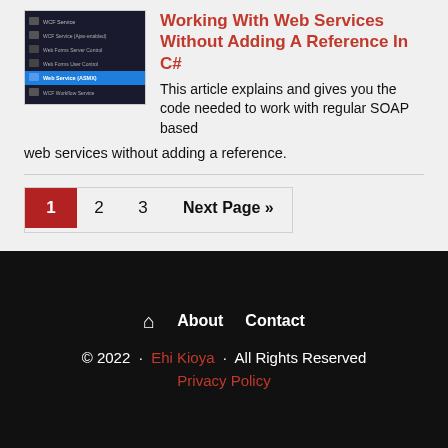[Figure (screenshot): Screenshot of a dark-themed menu/panel showing items: WCF Service, WCF Service (Ajax-enabled), Web Forms Server Control, Web Forms User Control, Web Service (ASMX) highlighted in blue, WCF Workflow Service]
Working With Web Services Without Adding A Reference In C#
This article explains and gives you the code needed to work with regular SOAP based web services without adding a reference.
1  2  3  Next Page »
🏠  About  Contact
© 2022 · Ehi Kioya · All Rights Reserved
Privacy Policy